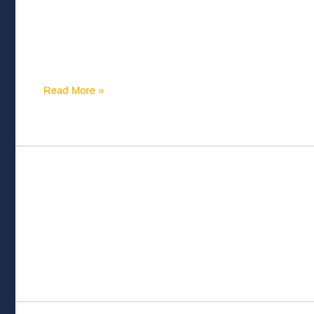Read More »
NCC News, News / By nextcentury
Read More »